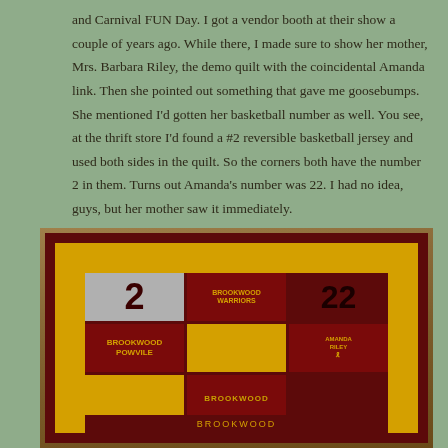and Carnival FUN Day. I got a vendor booth at their show a couple of years ago. While there, I made sure to show her mother, Mrs. Barbara Riley, the demo quilt with the coincidental Amanda link. Then she pointed out something that gave me goosebumps. She mentioned I'd gotten her basketball number as well. You see, at the thrift store I'd found a #2 reversible basketball jersey and used both sides in the quilt. So the corners both have the number 2 in them. Turns out Amanda's number was 22. I had no idea, guys, but her mother saw it immediately.
[Figure (photo): A memorial quilt photographed on a wooden floor. The quilt has a dark red border, a gold inner border, and a patchwork of squares in silver/grey, dark red, and gold fabric. The upper-left square shows a large '2' on silver fabric; the upper-right shows '22' on dark red fabric. Lower squares include a Brookwood logo patch and an Amanda Riley memorial ribbon patch.]